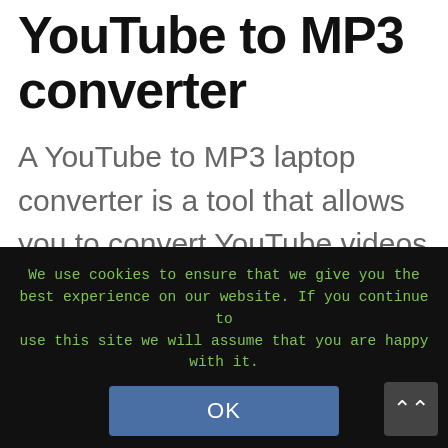YouTube to MP3 converter
A YouTube to MP3 laptop converter is a tool that allows you to convert YouTube videos into MP3 files. There are three different ways to convert YouTube videos to MP3 files, and each method comes with clear instructions. The best thing about this software is that it can convert even videos that are 90 minutes long. You can download as many MP3 files as you want
We use cookies to ensure that we give you the best experience on our website. If you continue to use this site we will assume that you are happy with it.
OK